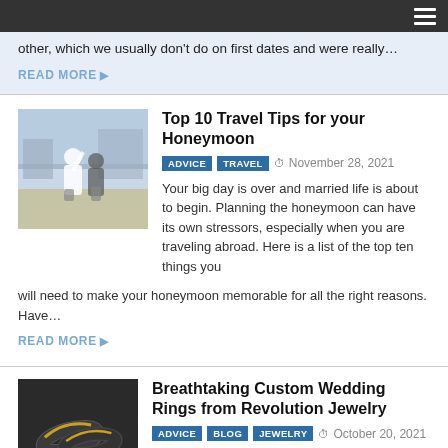other, which we usually don't do on first dates and were really…
READ MORE
Top 10 Travel Tips for your Honeymoon
ADVICE  TRAVEL  November 28, 2021
Your big day is over and married life is about to begin. Planning the honeymoon can have its own stressors, especially when you are traveling abroad. Here is a list of the top ten things you will need to make your honeymoon memorable for all the right reasons. Have…
READ MORE
Breathtaking Custom Wedding Rings from Revolution Jewelry
ADVICE  BLOG  JEWELRY  October 20, 2021
Create the Wedding Band of Your Dreams Revolution Jewelry has over 2,000 styles of